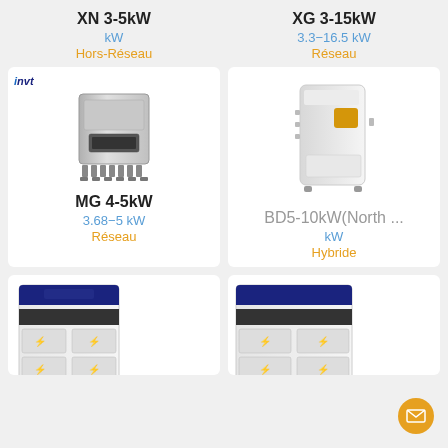XN 3-5kW
kW
Hors-Réseau
XG 3-15kW
3.3−16.5 kW
Réseau
[Figure (photo): INVT brand solar inverter MG 4-5kW, metallic box with connectors at bottom]
MG 4-5kW
3.68−5 kW
Réseau
[Figure (photo): INVT brand solar inverter BD5-10kW North, white wall-mounted box with display]
BD5-10kW(North ...
kW
Hybride
[Figure (photo): Large battery storage cabinet unit, white with dark panels]
[Figure (photo): Large battery storage cabinet unit, white with dark panels, wider model]